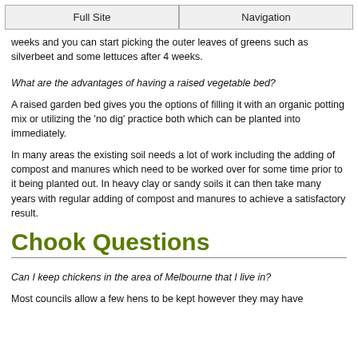Full Site | Navigation
weeks and you can start picking the outer leaves of greens such as silverbeet and some lettuces after 4 weeks.
What are the advantages of having a raised vegetable bed?
A raised garden bed gives you the options of filling it with an organic potting mix or utilizing the 'no dig' practice both which can be planted into immediately.
In many areas the existing soil needs a lot of work including the adding of compost and manures which need to be worked over for some time prior to it being planted out. In heavy clay or sandy soils it can then take many years with regular adding of compost and manures to achieve a satisfactory result.
Chook Questions
Can I keep chickens in the area of Melbourne that I live in?
Most councils allow a few hens to be kept however they may have